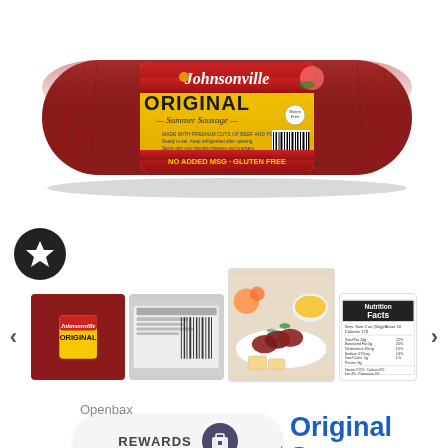[Figure (photo): Johnsonville Original Summer Sausage product package — a dark red/maroon cylindrical sausage with a yellow Johnsonville label in the center showing 'ORIGINAL Summer Sausage' branding with barcode]
[Figure (photo): Thumbnail image strip showing: (1) product front view, (2) product back/nutrition label view, (3) food styling shot with sliced summer sausage, crackers and sides, (4) nutrition facts panel closeup]
Openbax
[Figure (logo): Dark circular badge with star icon (favorites/bookmark) on left side]
[Figure (other): White pill-shaped rewards button with text REWARDS and dark circular icon]
Original Summer Sausage (20 oz.)